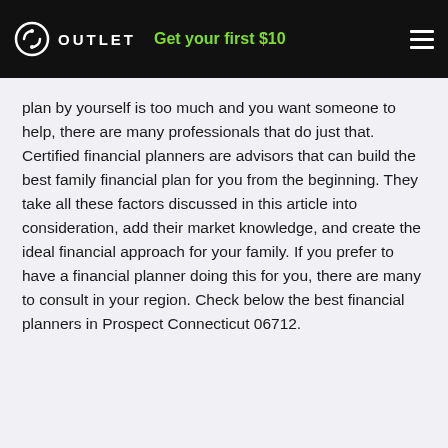OUTLET | Get your first $10
plan by yourself is too much and you want someone to help, there are many professionals that do just that. Certified financial planners are advisors that can build the best family financial plan for you from the beginning. They take all these factors discussed in this article into consideration, add their market knowledge, and create the ideal financial approach for your family. If you prefer to have a financial planner doing this for you, there are many to consult in your region. Check below the best financial planners in Prospect Connecticut 06712.